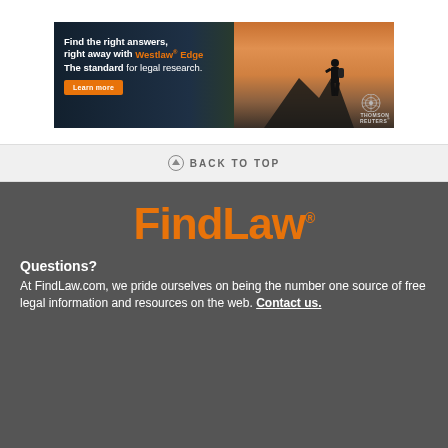[Figure (screenshot): Westlaw Edge advertisement banner: dark background with person silhouette on mountain, text 'Find the right answers, right away with Westlaw Edge. The standard for legal research.' with orange Learn more button and Thomson Reuters logo.]
BACK TO TOP
[Figure (logo): FindLaw orange wordmark logo with registered trademark symbol]
Questions?
At FindLaw.com, we pride ourselves on being the number one source of free legal information and resources on the web. Contact us.